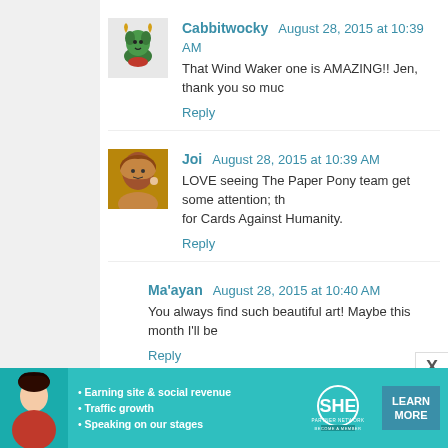Cabbitwocky August 28, 2015 at 10:39 AM
That Wind Waker one is AMAZING!! Jen, thank you so muc
Reply
Joi August 28, 2015 at 10:39 AM
LOVE seeing The Paper Pony team get some attention; th for Cards Against Humanity.
Reply
Ma'ayan August 28, 2015 at 10:40 AM
You always find such beautiful art! Maybe this month I'll be
Reply
Holly Denghel August 28, 2015 at 10:41 AM
I've already won, and won the thing I'd been lusting after f say that the Inked Belle is awesome and John needs
X
[Figure (infographic): SHE Partner Network advertisement banner with teal background, woman photo, bullet points about earning site, social revenue, traffic growth, speaking on stages, SHE logo, LEARN MORE button]